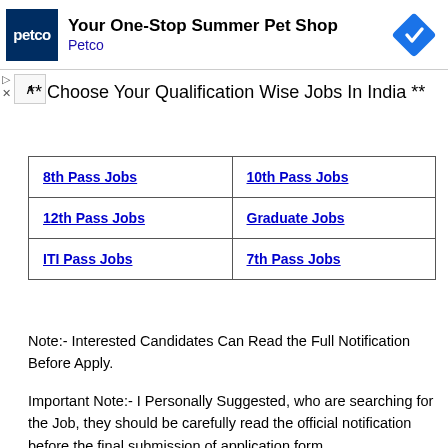[Figure (screenshot): Petco advertisement banner with dark blue logo, title 'Your One-Stop Summer Pet Shop', subtitle 'Petco', and a blue diamond navigation icon on the right.]
** Choose Your Qualification Wise Jobs In India **
| 8th Pass Jobs | 10th Pass Jobs |
| 12th Pass Jobs | Graduate Jobs |
| ITI Pass Jobs | 7th Pass Jobs |
Note:- Interested Candidates Can Read the Full Notification Before Apply.
Important Note:- I Personally Suggested, who are searching for the Job, they should be carefully read the official notification before the final submission of application form